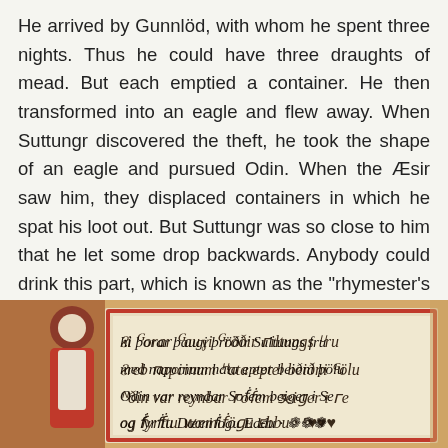He arrived by Gunnlöd, with whom he spent three nights. Thus he could have three draughts of mead. But each emptied a container. He then transformed into an eagle and flew away. When Suttungr discovered the theft, he took the shape of an eagle and pursued Odin. When the Æsir saw him, they displaced containers in which he spat his loot out. But Suttungr was so close to him that he let some drop backwards. Anybody could drink this part, which is known as the "rhymester's share" (skáldfífla hlutr).
But the mead of poetry was given by Odin to the gods and to the men gifted in poetry.
[Figure (photo): A medieval illuminated manuscript page showing old Norse/Icelandic script in a decorative bordered text box with reddish border. The visible text reads: 'hi þorar þaugi þröðir Sultungs fru med napcinum hata epter beiðni þölu Odin var reyndar So sem beiger i Se og fyrstu Dæmisogu Eddu.' with decorative calligraphy. Part of a figure in red and white is visible on the left edge.]